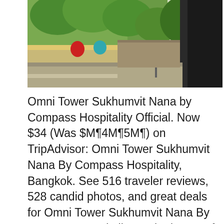[Figure (photo): Street-level photograph showing a road, vegetation/trees, and a dark building exterior, likely in Bangkok Thailand near the Omni Tower Sukhumvit Nana hotel area.]
Omni Tower Sukhumvit Nana by Compass Hospitality Official. Now $34 (Was $M¶4M¶5M¶) on TripAdvisor: Omni Tower Sukhumvit Nana By Compass Hospitality, Bangkok. See 516 traveler reviews, 528 candid photos, and great deals for Omni Tower Sukhumvit Nana By Compass Hospitality, ranked #752 of 1,183 hotels in Bangkok and rated 3.5 of 5 at TripAdvisor., Book your stay at Omni Tower Sukhumvit Nana by Compass Hospitality Official Website, a service apartment and budget hotel with Free WiFi and Loyalty rewards вЂ¦.